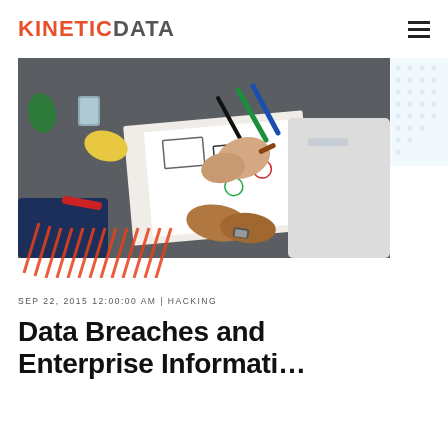KINETICDATA
[Figure (photo): Two people at a desk drawing wireframe diagrams on paper with markers and pens]
SEP 22, 2015 12:00:00 AM | HACKING
Data Breaches and Enterprise Informati…